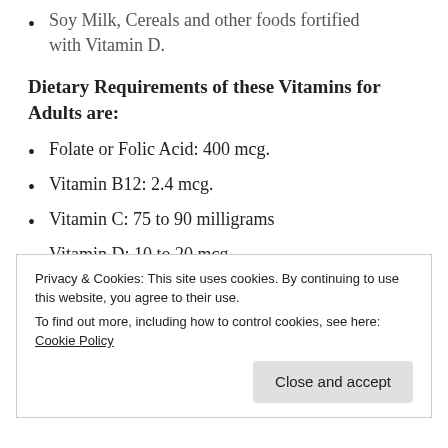Soy Milk, Cereals and other foods fortified with Vitamin D.
Dietary Requirements of these Vitamins for Adults are:
Folate or Folic Acid: 400 mcg.
Vitamin B12: 2.4 mcg.
Vitamin C: 75 to 90 milligrams
Vitamin D: 10 to 20 mcg.
Privacy & Cookies: This site uses cookies. By continuing to use this website, you agree to their use. To find out more, including how to control cookies, see here: Cookie Policy
Close and accept